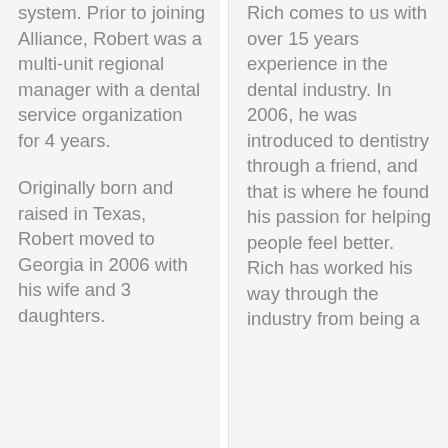system. Prior to joining Alliance, Robert was a multi-unit regional manager with a dental service organization for 4 years. Originally born and raised in Texas, Robert moved to Georgia in 2006 with his wife and 3 daughters.
Rich comes to us with over 15 years experience in the dental industry. In 2006, he was introduced to dentistry through a friend, and that is where he found his passion for helping people feel better. Rich has worked his way through the industry from being a